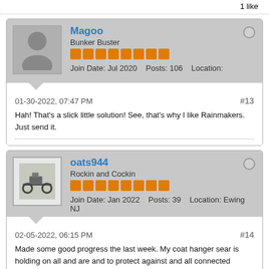1 like
Magoo
Bunker Buster
Join Date: Jul 2020  Posts: 106  Location:
01-30-2022, 07:47 PM  #13
Hah! That's a slick little solution! See, that's why I like Rainmakers. Just send it.
oats944
Rockin and Cockin
Join Date: Jan 2022  Posts: 39  Location: Ewing NJ
02-05-2022, 06:15 PM  #14
Made some good progress the last week. My coat hanger sear is holding on all and are and to protect against and all connected